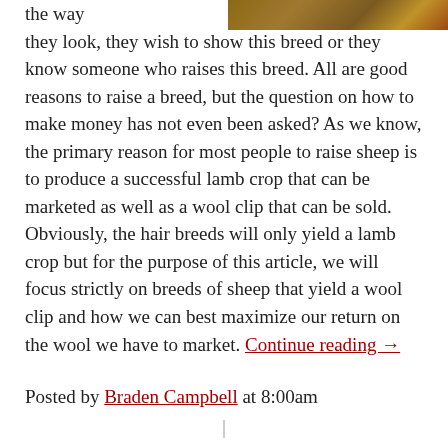[Figure (photo): Partial image of what appears to be an animal (sheep) in the top right corner]
the way they look, they wish to show this breed or they know someone who raises this breed. All are good reasons to raise a breed, but the question on how to make money has not even been asked? As we know, the primary reason for most people to raise sheep is to produce a successful lamb crop that can be marketed as well as a wool clip that can be sold. Obviously, the hair breeds will only yield a lamb crop but for the purpose of this article, we will focus strictly on breeds of sheep that yield a wool clip and how we can best maximize our return on the wool we have to market. Continue reading →
Posted by Braden Campbell at 8:00am